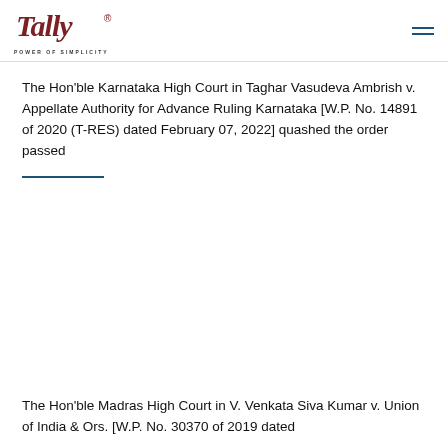[Figure (logo): Tally logo with italic script text 'Tally' with registered trademark symbol, and tagline 'POWER OF SIMPLICITY' below]
The Hon'ble Karnataka High Court in Taghar Vasudeva Ambrish v. Appellate Authority for Advance Ruling Karnataka [W.P. No. 14891 of 2020 (T-RES) dated February 07, 2022] quashed the order passed
The Hon'ble Madras High Court in V. Venkata Siva Kumar v. Union of India & Ors. [W.P. No. 30370 of 2019 dated